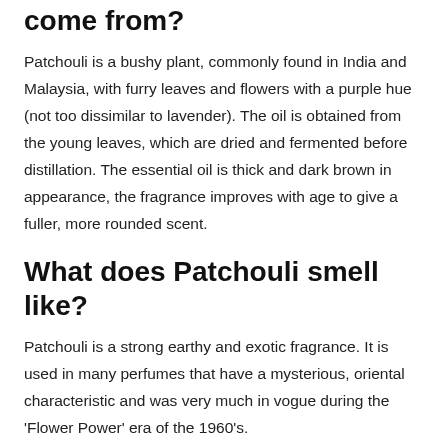come from?
Patchouli is a bushy plant, commonly found in India and Malaysia, with furry leaves and flowers with a purple hue (not too dissimilar to lavender). The oil is obtained from the young leaves, which are dried and fermented before distillation. The essential oil is thick and dark brown in appearance, the fragrance improves with age to give a fuller, more rounded scent.
What does Patchouli smell like?
Patchouli is a strong earthy and exotic fragrance. It is used in many perfumes that have a mysterious, oriental characteristic and was very much in vogue during the 'Flower Power' era of the 1960's.
Where does the scent of Patchouli